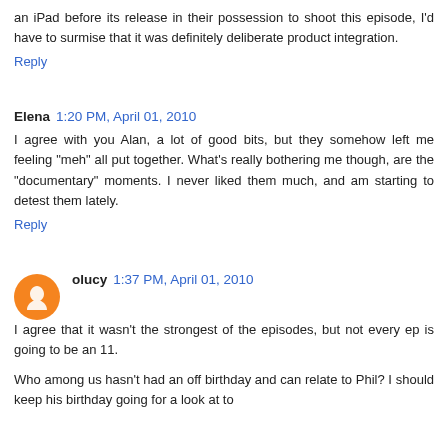an iPad before its release in their possession to shoot this episode, I'd have to surmise that it was definitely deliberate product integration.
Reply
Elena  1:20 PM, April 01, 2010
I agree with you Alan, a lot of good bits, but they somehow left me feeling "meh" all put together. What's really bothering me though, are the "documentary" moments. I never liked them much, and am starting to detest them lately.
Reply
olucy  1:37 PM, April 01, 2010
I agree that it wasn't the strongest of the episodes, but not every ep is going to be an 11.
Who among us hasn't had an off birthday and can relate to Phil? I should keep his birthday going for a look at to...